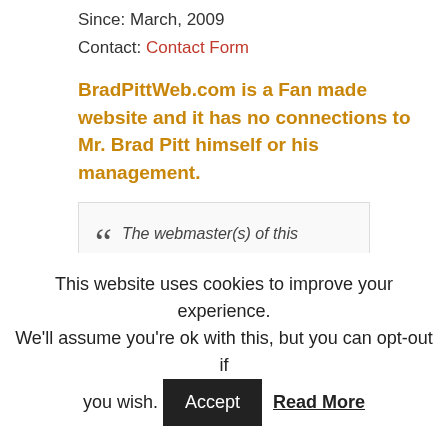Since: March, 2009
Contact: Contact Form
BradPittWeb.com is a Fan made website and it has no connections to Mr. Brad Pitt himself or his management.
The webmaster(s) of this website claim(s) no ownership to any material seen on this website and is used, to the best of their knowledge, under the "Fair Use" copyright laws. If you wish anything to be removed, just contact us.
This website uses cookies to improve your experience. We'll assume you're ok with this, but you can opt-out if you wish. Accept Read More